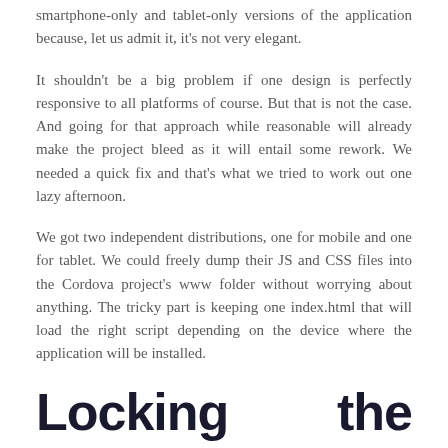smartphone-only and tablet-only versions of the application because, let us admit it, it's not very elegant.
It shouldn't be a big problem if one design is perfectly responsive to all platforms of course. But that is not the case. And going for that approach while reasonable will already make the project bleed as it will entail some rework. We needed a quick fix and that's what we tried to work out one lazy afternoon.
We got two independent distributions, one for mobile and one for tablet. We could freely dump their JS and CSS files into the Cordova project's www folder without worrying about anything. The tricky part is keeping one index.html that will load the right script depending on the device where the application will be installed.
Locking the Screen